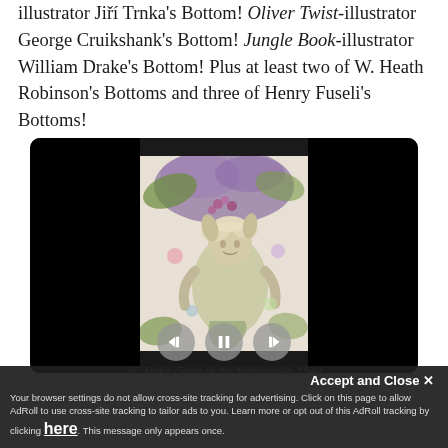illustrator Jiří Trnka's Bottom! Oliver Twist-illustrator George Cruikshank's Bottom! Jungle Book-illustrator William Drake's Bottom! Plus at least two of W. Heath Robinson's Bottoms and three of Henry Fuseli's Bottoms!
[Figure (screenshot): A video player frame with black letterbox bars on left and right, showing a painted illustration of a fairy-tale figure (Bottom from A Midsummer Night's Dream) amid flowers and foliage, with playback controls (back, pause, forward) overlaid at the bottom.]
Jiří Trnka, Song of the Nightingale, 1949
Accept and Close ✕
Your browser settings do not allow cross-site tracking for advertising. Click on this page to allow AdRoll to use cross-site tracking to tailor ads to you. Learn more or opt out of this AdRoll tracking by clicking here. This message only appears once.